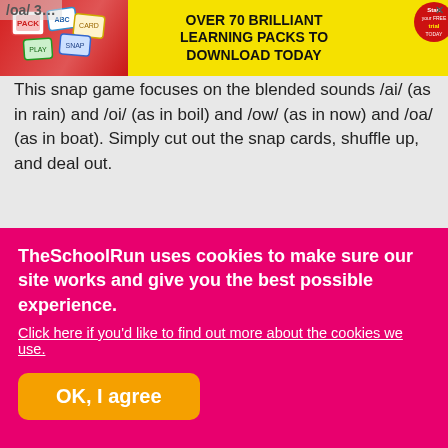[Figure (infographic): Yellow advertisement banner: 'OVER 70 BRILLIANT LEARNING PACKS TO DOWNLOAD TODAY' with colorful decorative cards and red/pink elements on the left side.]
This snap game focuses on the blended sounds /ai/ (as in rain) and /oi/ (as in boil) and /ow/ (as in now) and /oa/ (as in boat). Simply cut out the snap cards, shuffle up, and deal out.
Login or Register to add to your saved resources ★
Subscriber content 🔒
Subscribe now now to instantly download this
TheSchoolRun uses cookies to make sure our site works and give you the best possible experience. Click here if you'd like to find out more about the cookies we use. OK, I agree